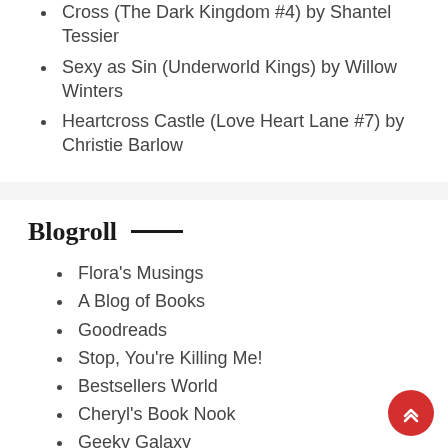Cross (The Dark Kingdom #4) by Shantel Tessier
Sexy as Sin (Underworld Kings) by Willow Winters
Heartcross Castle (Love Heart Lane #7) by Christie Barlow
Blogroll
Flora's Musings
A Blog of Books
Goodreads
Stop, You're Killing Me!
Bestsellers World
Cheryl's Book Nook
Geeky Galaxy
The Big Thrill